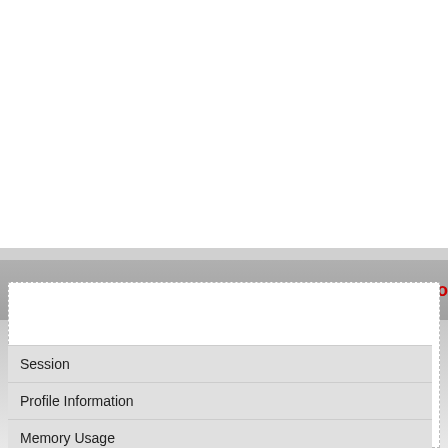Page 3 of 26
Start  Prev  1  2  3  4  5
Corporate Sponsor
Joomla! Debug Console
Session
Profile Information
Memory Usage
Database Queries